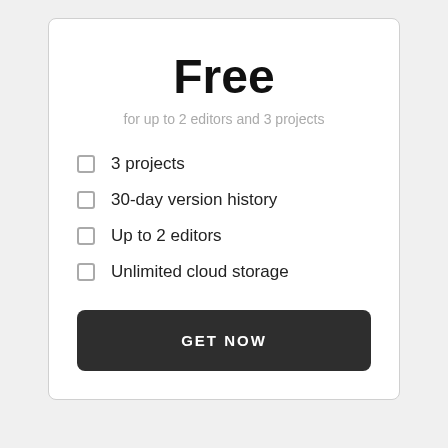Free
for up to 2 editors and 3 projects
3 projects
30-day version history
Up to 2 editors
Unlimited cloud storage
GET NOW